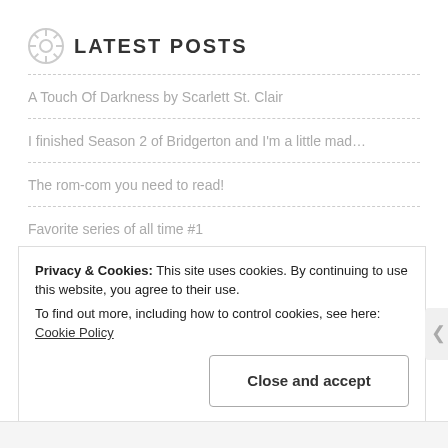LATEST POSTS
A Touch Of Darkness by Scarlett St. Clair
I finished Season 2 of Bridgerton and I'm a little mad…
The rom-com you need to read!
Favorite series of all time #1
Muskets and Minuets by Lindsey S. Fera
Privacy & Cookies: This site uses cookies. By continuing to use this website, you agree to their use. To find out more, including how to control cookies, see here: Cookie Policy
Close and accept